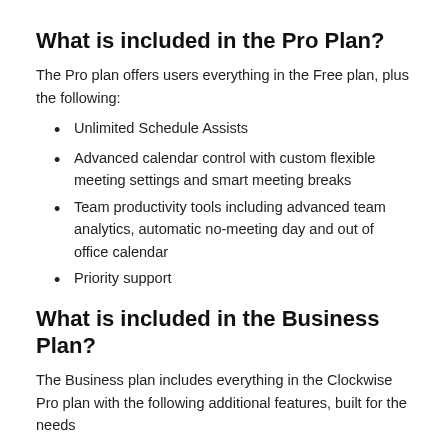What is included in the Pro Plan?
The Pro plan offers users everything in the Free plan, plus the following:
Unlimited Schedule Assists
Advanced calendar control with custom flexible meeting settings and smart meeting breaks
Team productivity tools including advanced team analytics, automatic no-meeting day and out of office calendar
Priority support
What is included in the Business Plan?
The Business plan includes everything in the Clockwise Pro plan with the following additional features, built for the needs